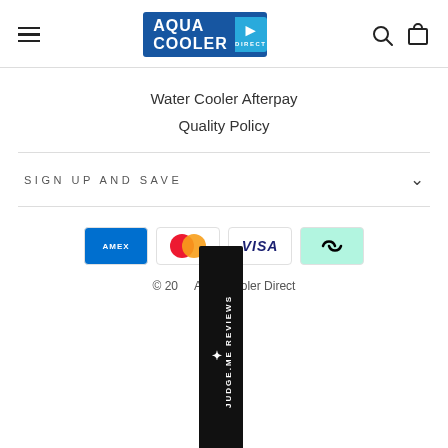Aqua Cooler Direct – navigation header with hamburger menu, logo, search and cart icons
Water Cooler Afterpay
Quality Policy
SIGN UP AND SAVE
[Figure (other): Payment method icons: Amex, Mastercard, Visa, Afterpay]
© 20__ Aqua Cooler Direct
[Figure (other): Judge.me Reviews vertical ribbon badge in black]